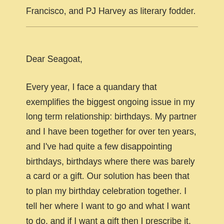Francisco, and PJ Harvey as literary fodder.
Dear Seagoat,
Every year, I face a quandary that exemplifies the biggest ongoing issue in my long term relationship: birthdays. My partner and I have been together for over ten years, and I've had quite a few disappointing birthdays, birthdays where there was barely a card or a gift. Our solution has been that to plan my birthday celebration together. I tell her where I want to go and what I want to do, and if I want a gift then I prescribe it.  It's better than nothing, but in the end, I'm chronically a little disappointed. In the end, having to explain to my partner exactly how I want her to